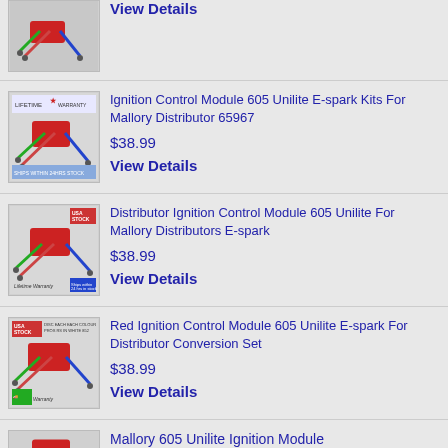[Figure (photo): Partial product image of ignition wires/module at top of page]
View Details
[Figure (photo): Ignition Control Module 605 product with Lifetime Warranty label]
Ignition Control Module 605 Unilite E-spark Kits For Mallory Distributor 65967
$38.99
View Details
[Figure (photo): Distributor Ignition Control Module 605 product with USA Stock and Lifetime Warranty label]
Distributor Ignition Control Module 605 Unilite For Mallory Distributors E-spark
$38.99
View Details
[Figure (photo): Red Ignition Control Module 605 product with USA Stock and Lifetime Warranty label]
Red Ignition Control Module 605 Unilite E-spark For Distributor Conversion Set
$38.99
View Details
[Figure (photo): Partial product image at bottom of page]
Mallory 605 Unilite Ignition Module